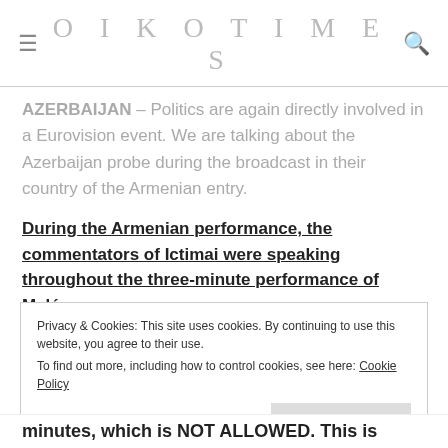OIKOTIMES
AZERBAIJAN – Politics are again directly involved in a Eurovision event. We are talking about the Azerbaijan probe during the broadcast in their country of the Armenian entry.
During the Armenian performance, the commentators of Ictimai were speaking throughout the three-minute performance of Maléna.
Privacy & Cookies: This site uses cookies. By continuing to use this website, you agree to their use.
To find out more, including how to control cookies, see here: Cookie Policy
minutes, which is NOT ALLOWED. This is